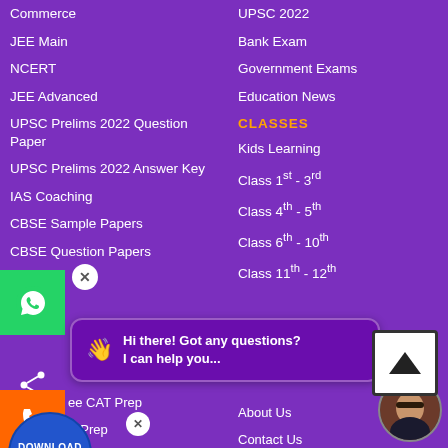Commerce
JEE Main
NCERT
JEE Advanced
UPSC Prelims 2022 Question Paper
UPSC Prelims 2022 Answer Key
IAS Coaching
CBSE Sample Papers
CBSE Question Papers
UPSC 2022
Bank Exam
Government Exams
Education News
CLASSES
Kids Learning
Class 1st - 3rd
Class 4th - 5th
Class 6th - 10th
Class 11th - 12th
EXAM PREPARATION
Free CAT Prep
Free IAS Prep
Physics
About Us
Contact Us
Investors
Careers
Hi there! Got any questions? I can help you...